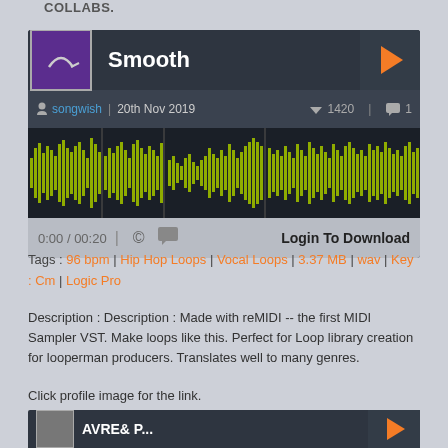COLLABS.
[Figure (screenshot): Audio player card for 'Smooth' by songwish, dated 20th Nov 2019, with waveform visualization, play button, 1420 votes, 1 comment, login to download button, time 0:00/00:20]
Tags : 96 bpm | Hip Hop Loops | Vocal Loops | 3.37 MB | wav | Key : Cm | Logic Pro
Description : Description : Made with reMIDI -- the first MIDI Sampler VST. Make loops like this. Perfect for Loop library creation for looperman producers. Translates well to many genres.
Click profile image for the link.
[Figure (screenshot): Partial bottom audio player card, cut off at bottom of page]